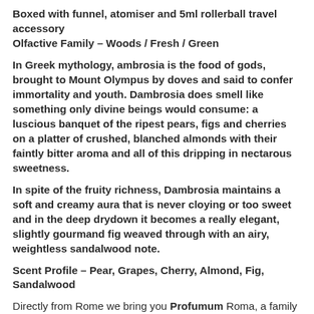Boxed with funnel, atomiser and 5ml rollerball travel accessory
Olfactive Family – Woods / Fresh / Green
In Greek mythology, ambrosia is the food of gods, brought to Mount Olympus by doves and said to confer immortality and youth. Dambrosia does smell like something only divine beings would consume: a luscious banquet of the ripest pears, figs and cherries on a platter of crushed, blanched almonds with their faintly bitter aroma and all of this dripping in nectarous sweetness.
In spite of the fruity richness, Dambrosia maintains a soft and creamy aura that is never cloying or too sweet and in the deep drydown it becomes a really elegant, slightly gourmand fig weaved through with an airy, weightless sandalwood note.
Scent Profile – Pear, Grapes, Cherry, Almond, Fig, Sandalwood
Directly from Rome we bring you Profumum Roma, a family owned niche perfume brand that make their scent in oil base. The story begins with Celestino and Lucia Durante